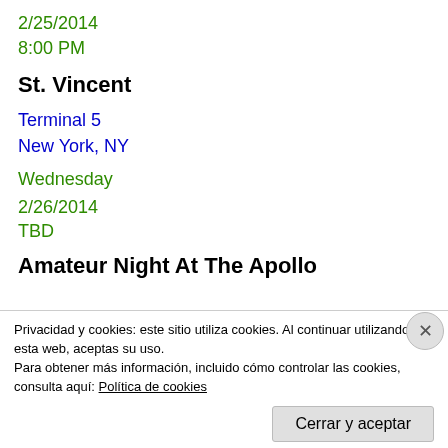2/25/2014
8:00 PM
St. Vincent
Terminal 5
New York, NY
Wednesday
2/26/2014
TBD
Amateur Night At The Apollo
Privacidad y cookies: este sitio utiliza cookies. Al continuar utilizando esta web, aceptas su uso.
Para obtener más información, incluido cómo controlar las cookies, consulta aquí: Política de cookies
Cerrar y aceptar